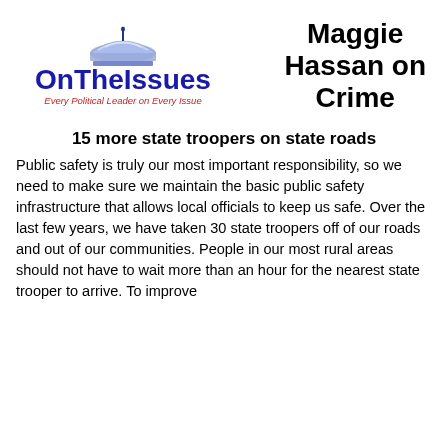[Figure (logo): OnTheIssues logo - blue text reading 'OnTheIssues' with a capitol dome graphic above, and red italic tagline 'Every Political Leader on Every Issue']
Maggie Hassan on Crime
15 more state troopers on state roads
Public safety is truly our most important responsibility, so we need to make sure we maintain the basic public safety infrastructure that allows local officials to keep us safe. Over the last few years, we have taken 30 state troopers off of our roads and out of our communities. People in our most rural areas should not have to wait more than an hour for the nearest state trooper to arrive. To improve